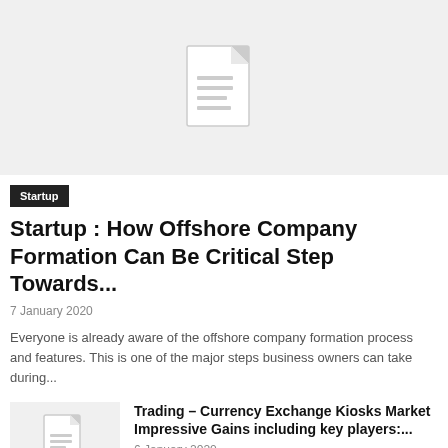[Figure (illustration): Large placeholder image with a document/file icon on a light gray background]
Startup
Startup : How Offshore Company Formation Can Be Critical Step Towards...
7 January 2020
Everyone is already aware of the offshore company formation process and features. This is one of the major steps business owners can take during...
[Figure (illustration): Small placeholder thumbnail with a document/file icon on a light gray background]
Trading – Currency Exchange Kiosks Market Impressive Gains including key players:...
6 January 2020